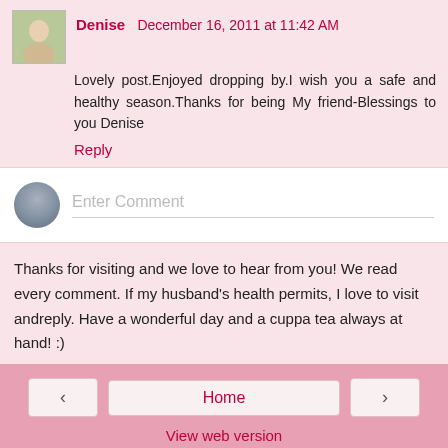Denise  December 16, 2011 at 11:42 AM
Lovely post.Enjoyed dropping by.I wish you a safe and healthy season.Thanks for being My friend-Blessings to you Denise
Reply
[Figure (other): Enter Comment input box with user avatar placeholder]
Thanks for visiting and we love to hear from you! We read every comment. If my husband's health permits, I love to visit andreply. Have a wonderful day and a cuppa tea always at hand! :)
Home
View web version
About Me